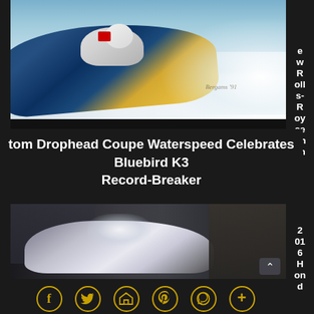[Figure (photo): A speedboat (Bluebird K3) racing across water, painted illustration with blue hull and yellow accents, water spray visible]
tom Drophead Coupe Waterspeed Celebrates Bluebird K3 Record-Breaker
e w R oll s- R oy ce Ph an
[Figure (photo): A silver sports car at what appears to be an indoor event, people photographing it in the background]
2 01 6 H on d
f  ⬆ p ⊕ +